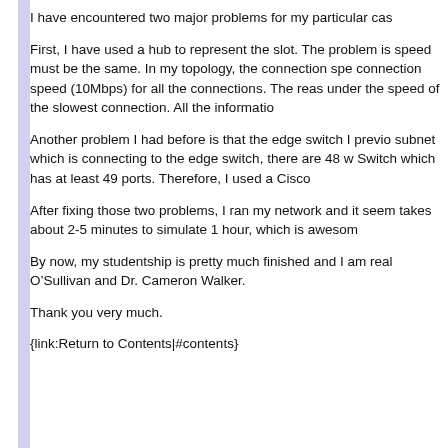I have encountered two major problems for my particular cas
First, I have used a hub to represent the slot. The problem is speed must be the same. In my topology, the connection spe connection speed (10Mbps) for all the connections. The reas under the speed of the slowest connection. All the informatio
Another problem I had before is that the edge switch I previo subnet which is connecting to the edge switch, there are 48 w Switch which has at least 49 ports. Therefore, I used a Cisco
After fixing those two problems, I ran my network and it seem takes about 2-5 minutes to simulate 1 hour, which is awesom
By now, my studentship is pretty much finished and I am real O’Sullivan and Dr. Cameron Walker.
Thank you very much.
{link:Return to Contents|#contents}